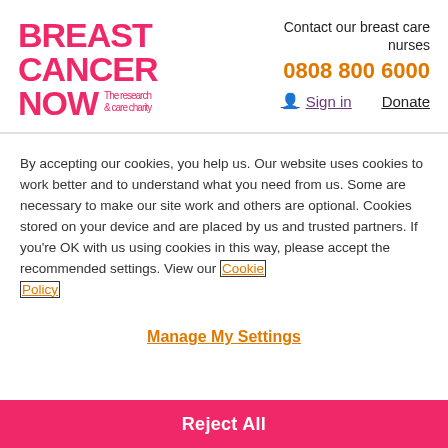[Figure (logo): Breast Cancer Now logo — pink bold text reading BREAST CANCER NOW with tagline 'The research & care charity']
Contact our breast care nurses
0808 800 6000
Sign in
Donate
By accepting our cookies, you help us. Our website uses cookies to work better and to understand what you need from us. Some are necessary to make our site work and others are optional. Cookies stored on your device and are placed by us and trusted partners. If you're OK with us using cookies in this way, please accept the recommended settings. View our Cookie Policy
Manage My Settings
Reject All